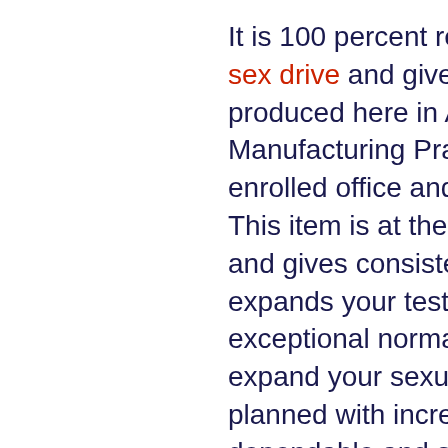It is 100 percent regular and intended to build your sex drive and give more grounded erections. It is produced here in America keeping Goods Manufacturing Practice rules. It is made in a FDA-enrolled office and doesn't need creature testing. This item is at the core of your entire framework and gives consistent energy, strength, and expands your testosterone levels. It contains 14 exceptional normal fixings, which are intended to expand your sexual drive. Since it has been planned with incredible consideration, it is dependable and safe. It is both strong and delicate. It can expand your sexual power and endurance, permitting you to have durable intercourse. It builds your energy levels and imperativeness, permitting you to have more extreme sexual feeling and